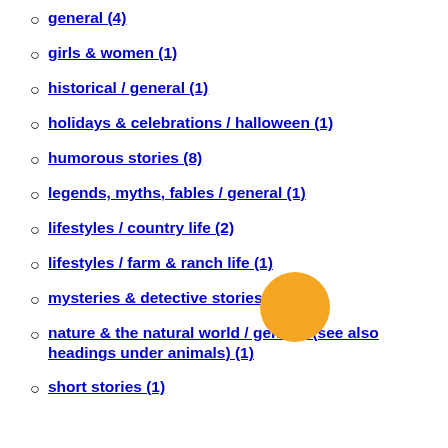general (4)
girls & women (1)
historical / general (1)
holidays & celebrations / halloween (1)
humorous stories (8)
legends, myths, fables / general (1)
lifestyles / country life (2)
lifestyles / farm & ranch life (1)
mysteries & detective stories (1)
nature & the natural world / general (see also headings under animals) (1)
short stories (1)